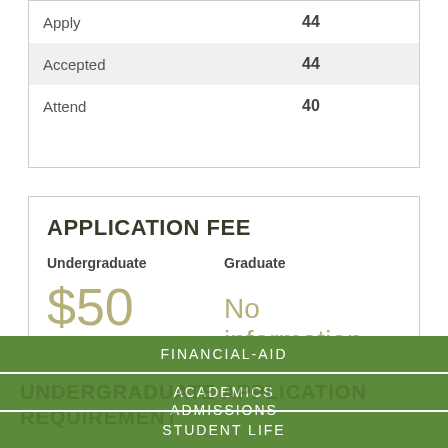|  |  |
| --- | --- |
| Apply | 44 |
| Accepted | 44 |
| Attend | 40 |
APPLICATION FEE
Undergraduate   $50        Graduate   No information
FINANCIAL-AID
ACADEMICS
UNDERGRADUATE APPLICATION REQUIREMENT
ADMISSIONS
STUDENT LIFE